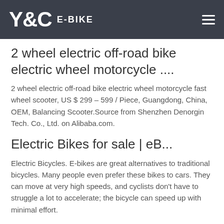Y&C E-BIKE
2 wheel electric off-road bike electric wheel motorcycle ....
2 wheel electric off-road bike electric wheel motorcycle fast wheel scooter, US $ 299 – 599 / Piece, Guangdong, China, OEM, Balancing Scooter.Source from Shenzhen Denorgin Tech. Co., Ltd. on Alibaba.com.
Electric Bikes for sale | eB...
Electric Bicycles. E-bikes are great alternatives to traditional bicycles. Many people even prefer these bikes to cars. They can move at very high speeds, and cyclists don't have to struggle a lot to accelerate; the bicycle can speed up with minimal effort.
brian mitchell + eric peloquin + erik askin: be...
with its electric in hub motor and rechargeable lithium-ion battery stored in the downtube, the 'bend' is the